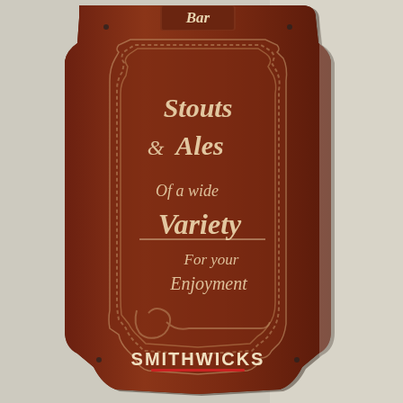[Figure (photo): A wooden pub sign mounted on a white wall. The dark mahogany-colored shield-shaped wooden plaque reads 'Bar' at the top, then features a scroll design with text: 'Stouts & Ales Of a wide Variety For your Enjoyment', and at the bottom 'SMITHWICKS' with a red underline.]